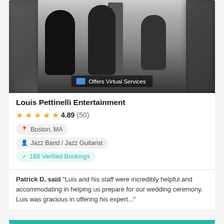[Figure (photo): Black and white photo of a jazz band rehearsing in a studio, with musicians playing upright bass, saxophone, and drums. Blurred edges on left and right.]
Offers Virtual Services
Louis Pettinelli Entertainment
★★★★★ 4.89 (50)
Boston, MA
Jazz Band / Jazz Guitarist
168 Verified Bookings
Patrick D. said "Luis and his staff were incredibly helpful and accommodating in helping us prepare for our wedding ceremony. Luis was gracious in offering his expert..."